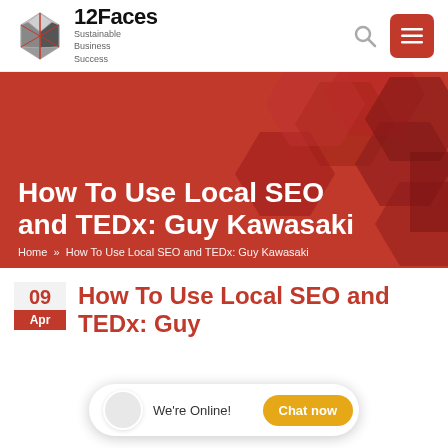[Figure (logo): 12Faces Sustainable Business Success logo with geometric diamond/icosahedron icon]
[Figure (illustration): Red hexagon pattern hero banner background with title 'How To Use Local SEO and TEDx: Guy Kawasaki' and breadcrumb navigation]
How To Use Local SEO and TEDx: Guy Kawasaki
Home » How To Use Local SEO and TEDx: Guy Kawasaki
How To Use Local SEO and TEDx: Guy